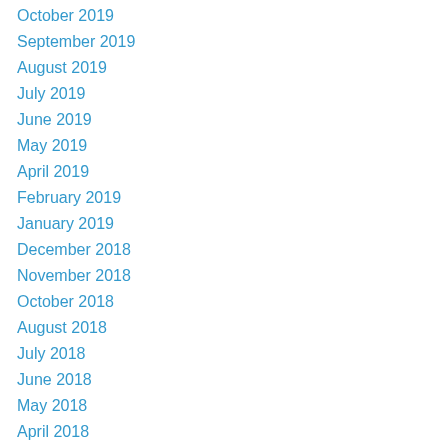October 2019
September 2019
August 2019
July 2019
June 2019
May 2019
April 2019
February 2019
January 2019
December 2018
November 2018
October 2018
August 2018
July 2018
June 2018
May 2018
April 2018
March 2018
February 2018
January 2018